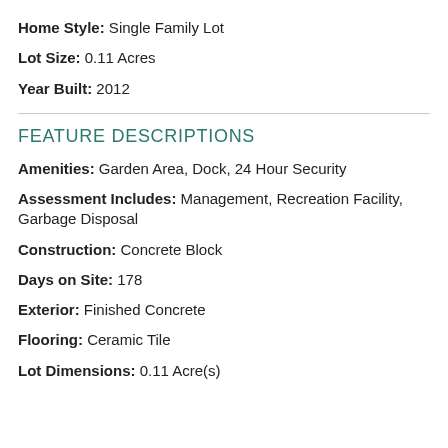Home Style: Single Family Lot
Lot Size: 0.11 Acres
Year Built: 2012
FEATURE DESCRIPTIONS
Amenities: Garden Area, Dock, 24 Hour Security
Assessment Includes: Management, Recreation Facility, Garbage Disposal
Construction: Concrete Block
Days on Site: 178
Exterior: Finished Concrete
Flooring: Ceramic Tile
Lot Dimensions: 0.11 Acre(s)